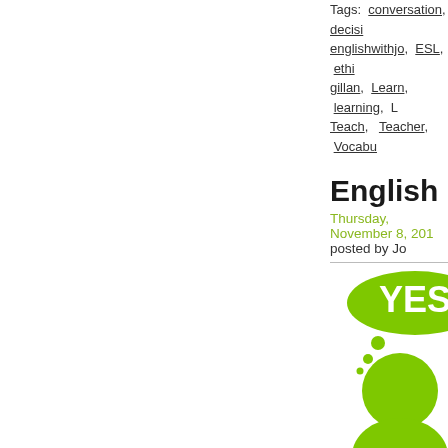Tags: conversation, decision, englishwithjo, ESL, ethi[cs], gillan, Learn, learning, L[...], Teach, Teacher, Vocabu[lary]
English Convers[ation ...]
Thursday, November 8, 201[...]
posted by Jo
[Figure (illustration): Two cartoon figures debating - a green figure with YES speech bubble and a purple figure with NO speech bubble]
cases even war.  read m[ore...]
Tags: argument, audio, [...], englishwithjo, ESL, expr[essions], lesson, lessons, Online[...]